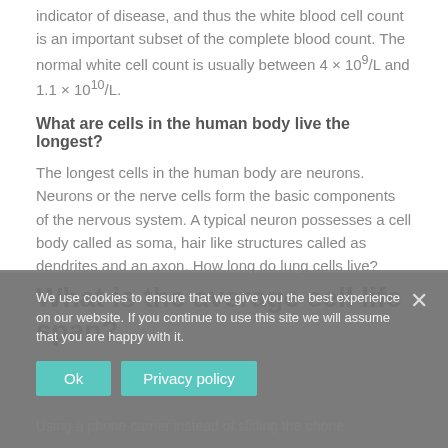indicator of disease, and thus the white blood cell count is an important subset of the complete blood count. The normal white cell count is usually between 4 × 109/L and 1.1 × 1010/L.
What are cells in the human body live the longest?
The longest cells in the human body are neurons. Neurons or the nerve cells form the basic components of the nervous system. A typical neuron possesses a cell body called as soma, hair like structures called as dendrites and an axon. How long do lung cells live? Erythrocytes, red blood cells, live 120 days.
What is the average cell life span?
Using a phone carrier instead of sliding the phone
We use cookies to ensure that we give you the best experience on our website. If you continue to use this site we will assume that you are happy with it.